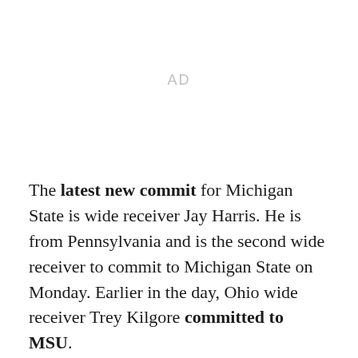[Figure (other): AD placeholder / advertisement space]
The latest new commit for Michigan State is wide receiver Jay Harris. He is from Pennsylvania and is the second wide receiver to commit to Michigan State on Monday. Earlier in the day, Ohio wide receiver Trey Kilgore committed to MSU.
Harris is an under the radar type of prospect. He is